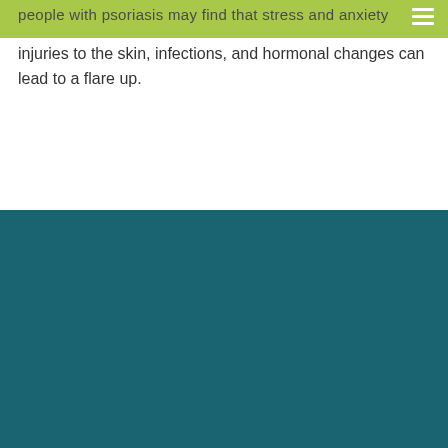people with psoriasis may find that stress and anxiety injuries to the skin, infections, and hormonal changes can lead to a flare up.
Diseases
Alopecia Areata
Ankylosing Spondylitis
Acne
Ad...